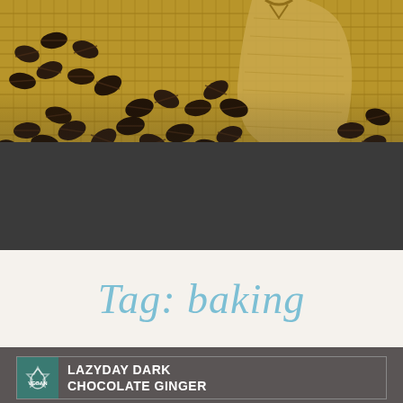[Figure (photo): Photo of roasted coffee beans spilling out of a burlap sack on a burlap fabric background]
Tag: baking
LAZYDAY DARK CHOCOLATE GINGER